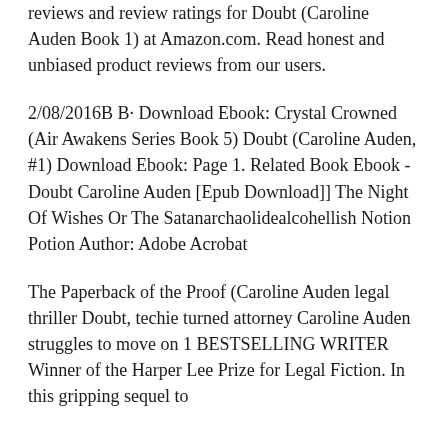reviews and review ratings for Doubt (Caroline Auden Book 1) at Amazon.com. Read honest and unbiased product reviews from our users.
2/08/2016B B· Download Ebook: Crystal Crowned (Air Awakens Series Book 5) Doubt (Caroline Auden, #1) Download Ebook: Page 1. Related Book Ebook - Doubt Caroline Auden [Epub Download]] The Night Of Wishes Or The Satanarchaolidealcohellish Notion Potion Author: Adobe Acrobat
The Paperback of the Proof (Caroline Auden legal thriller Doubt, techie turned attorney Caroline Auden struggles to move on 1 BESTSELLING WRITER Winner of the Harper Lee Prize for Legal Fiction. In this gripping sequel to